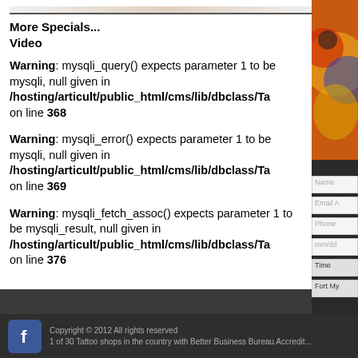More Specials...
Video
Warning: mysqli_query() expects parameter 1 to be mysqli, null given in /hosting/articult/public_html/cms/lib/dbclass/Ta on line 368
Warning: mysqli_error() expects parameter 1 to be mysqli, null given in /hosting/articult/public_html/cms/lib/dbclass/Ta on line 369
Warning: mysqli_fetch_assoc() expects parameter 1 to be mysqli_result, null given in /hosting/articult/public_html/cms/lib/dbclass/Ta on line 376
Copyright © 2012 All rights reserved
1 of 30 Tattoo shops in the country with Better Business Bureau Accredit...